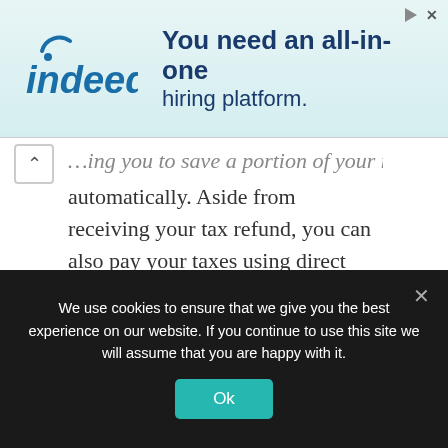[Figure (other): Indeed.com advertisement banner with Indeed logo and text 'You need an all-in-one hiring platform.']
automatically. Aside from receiving your tax refund, you can also pay your taxes using direct deposit.
Direct deposit for veterans
For former armed forces members, your disability compensation and veterans affairs
We use cookies to ensure that we give you the best experience on our website. If you continue to use this site we will assume that you are happy with it.